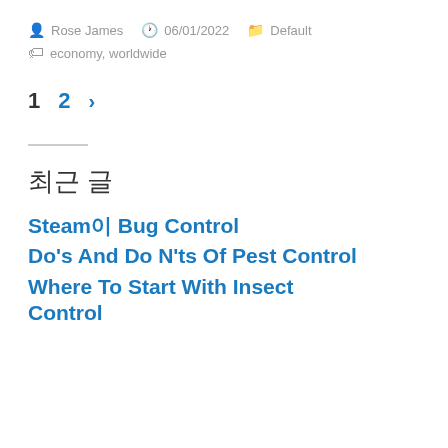Rose James  06/01/2022  Default
economy, worldwide
1  2  >
최근 글
Steam이 Bug Control
Do's And Do N'ts Of Pest Control
Where To Start With Insect Control